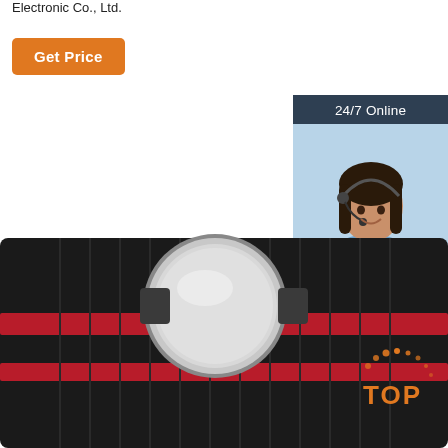Electronic Co., Ltd.
Get Price
[Figure (illustration): Customer service chat widget with '24/7 Online' header, photo of smiling woman with headset, 'Click here for free chat!' text, and orange QUOTATION button]
[Figure (photo): Close-up photo of a smartwatch/tracker with silver round casing on a black and red nylon strap, viewed from the back]
TOP